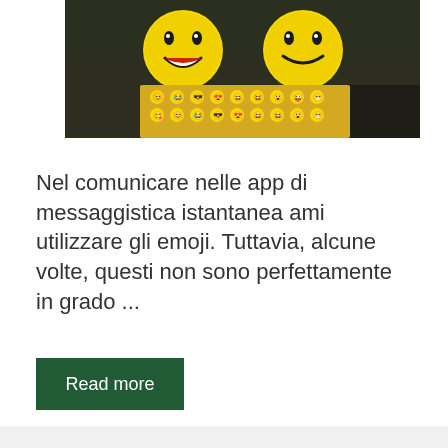[Figure (photo): Two large yellow smiley face plush toys/balls above a box or package covered with many small emoji sticker faces, set against a dark blurred background]
Nel comunicare nelle app di messaggistica istantanea ami utilizzare gli emoji. Tuttavia, alcune volte, questi non sono perfettamente in grado ...
Read more